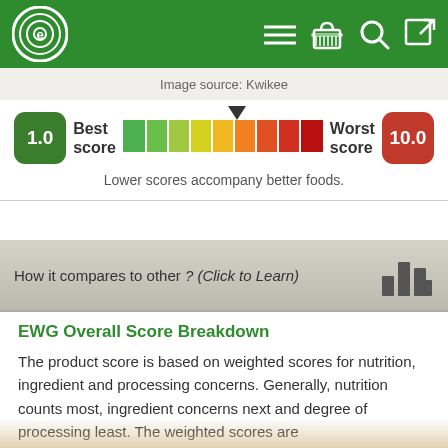EWG Food Scores – header bar with logo and navigation icons
Image source: Kwikee
[Figure (infographic): Score scale from 1.0 (Best score, green badge) to 10.0 (Worst score, red badge), with a gradient color bar and a pointer indicator near the middle-right. Text: Lower scores accompany better foods.]
How it compares to other ? (Click to Learn)
EWG Overall Score Breakdown
The product score is based on weighted scores for nutrition, ingredient and processing concerns. Generally, nutrition counts most, ingredient concerns next and degree of processing least. The weighted scores are